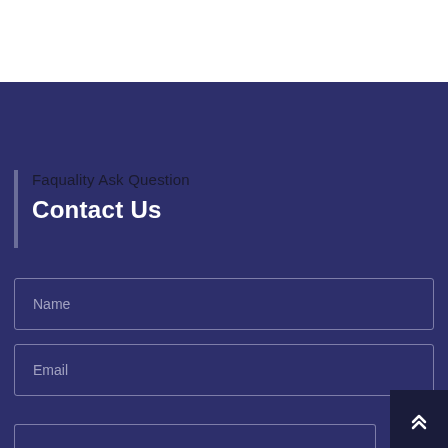Faquality Ask Question
Contact Us
Name
Email